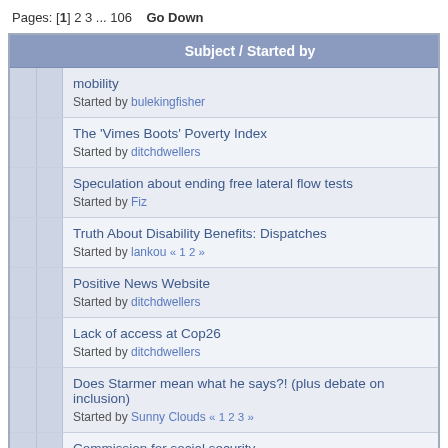Pages: [1] 2 3 ... 106   Go Down
| Subject / Started by |
| --- |
| mobility
Started by bulekingfisher |
| The 'Vimes Boots' Poverty Index
Started by ditchdwellers |
| Speculation about ending free lateral flow tests
Started by Fiz |
| Truth About Disability Benefits: Dispatches
Started by lankou « 1 2 » |
| Positive News Website
Started by ditchdwellers |
| Lack of access at Cop26
Started by ditchdwellers |
| Does Starmer mean what he says?! (plus debate on inclusion)
Started by Sunny Clouds « 1 2 3 » |
| Commission for social security
Started by Fiz |
| Iain Duncan Smith attacked with traffic cone.
Started by lankou |
| Health assessments for benefits Inquiry. |